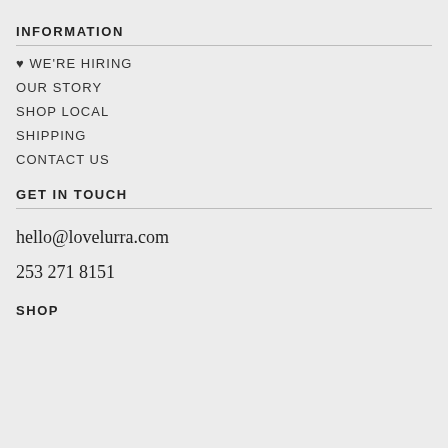INFORMATION
♥ WE'RE HIRING
OUR STORY
SHOP LOCAL
SHIPPING
CONTACT US
GET IN TOUCH
hello@lovelurra.com
253 271 8151
SHOP